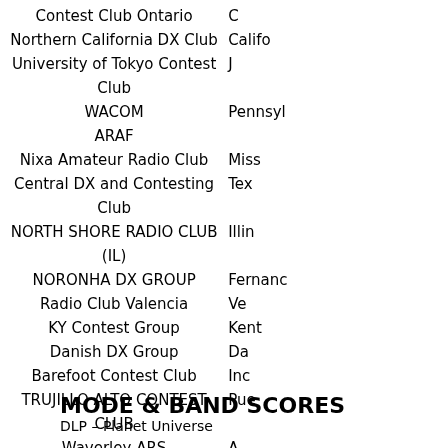Contest Club Ontario | C
Northern California DX Club | Califo
University of Tokyo Contest Club | J
WACOM | Pennsyl
ARAF
Nixa Amateur Radio Club | Miss
Central DX and Contesting Club | Tex
NORTH SHORE RADIO CLUB (IL) | Illin
NORONHA DX GROUP | Fernanc
Radio Club Valencia | Ve
KY Contest Group | Kent
Danish DX Group | Da
Barefoot Contest Club | Inc
TRUJILLO ALTO CONTEST CLUB | Pue
Waverley ARS | A
United Station of America
G-QRP | E
MODE & BAND SCORES
DLP – Planet Universe